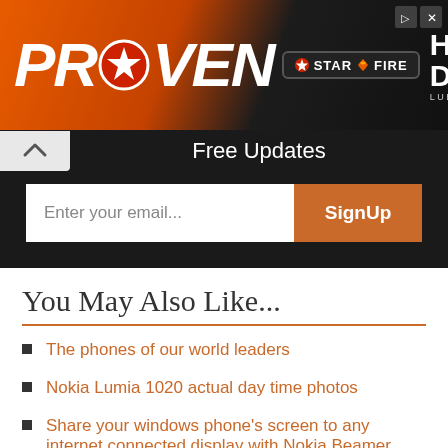[Figure (photo): Proven Star Fire Heavy Duty Lubricants advertisement banner with orange and dark background]
Free Updates
Enter your email... SignUp
You May Also Like...
The phones of our world leaders
Nokia Lumia 1020 actual day time photos
Share your windows phone's screen to any internet connected display with Nokia Beamer